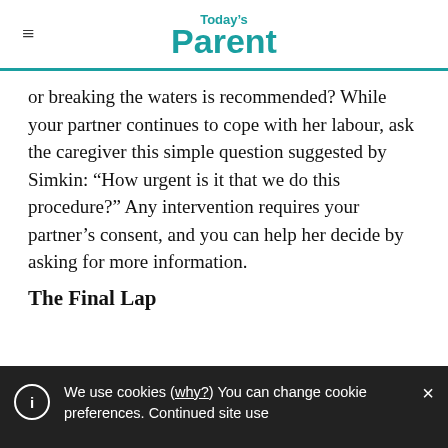Today's Parent
or breaking the waters is recommended? While your partner continues to cope with her labour, ask the caregiver this simple question suggested by Simkin: “How urgent is it that we do this procedure?” Any intervention requires your partner’s consent, and you can help her decide by asking for more information.
The Final Lap
We use cookies (why?) You can change cookie preferences. Continued site use